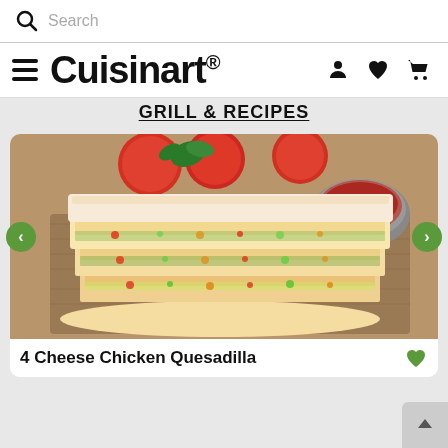Search
Cuisinart®
GRILL & RECIPES
[Figure (photo): Stacked quesadilla slices filled with chicken, vegetables, and cheese on a wooden board, with tomatoes, fresh herbs, and a bowl of dipping sauce in the background. Navigation arrows on left and right sides.]
4 Cheese Chicken Quesadilla